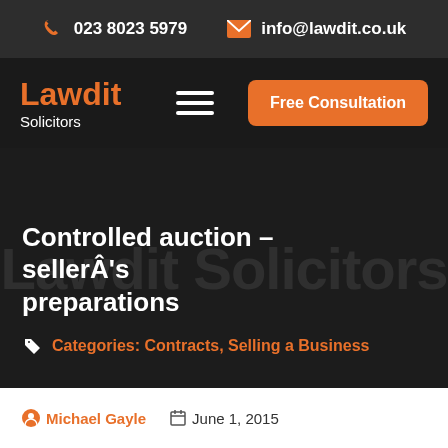023 8023 5979   info@lawdit.co.uk
[Figure (logo): Lawdit Solicitors logo with orange Lawdit text and white Solicitors text, hamburger menu icon, and orange Free Consultation button]
Controlled auction – sellerÂ's preparations
Categories: Contracts, Selling a Business
Michael Gayle   June 1, 2015